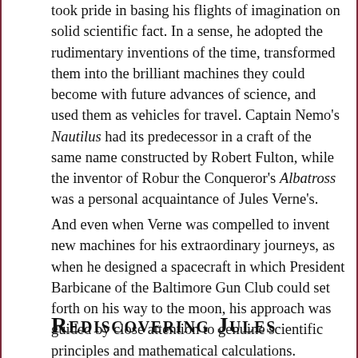took pride in basing his flights of imagination on solid scientific fact. In a sense, he adopted the rudimentary inventions of the time, transformed them into the brilliant machines they could become with future advances of science, and used them as vehicles for travel. Captain Nemo's Nautilus had its predecessor in a craft of the same name constructed by Robert Fulton, while the inventor of Robur the Conqueror's Albatross was a personal acquaintance of Jules Verne's.
And even when Verne was compelled to invent new machines for his extraordinary journeys, as when he designed a spacecraft in which President Barbicane of the Baltimore Gun Club could set forth on his way to the moon, his approach was guided by close attention to genuine scientific principles and mathematical calculations.
Rediscovering Jules